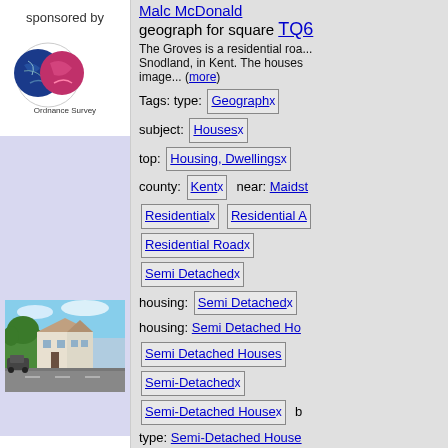sponsored by
[Figure (logo): Ordnance Survey logo - circular logo with map and pink/red design elements, with 'Ordnance Survey' text below]
[Figure (photo): Residential road in Snodland, Kent showing semi-detached houses with trees and wet road surface]
Malc McDonald geograph for square TQ6
The Groves is a residential road... Snodland, in Kent. The houses image... (more)
Tags: type: Geograph x
subject: Houses x
top: Housing, Dwellings x
county: Kent x  near: Maidst
Residential x  Residential A
Residential Road x
Semi Detached x
housing: Semi Detached x
housing: Semi Detached Ho
Semi Detached Houses
Semi-Detached x
Semi-Detached House x  b
type: Semi-Detached House
Semi-Detached Houses x